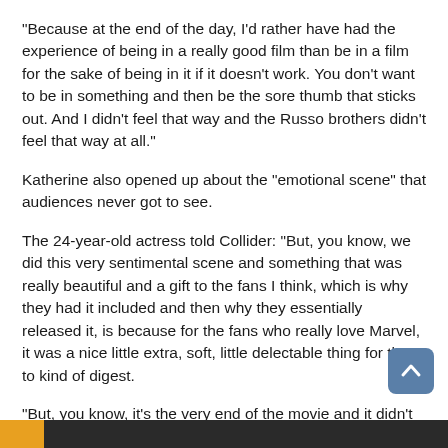"Because at the end of the day, I'd rather have had the experience of being in a really good film than be in a film for the sake of being in it if it doesn't work. You don't want to be in something and then be the sore thumb that sticks out. And I didn't feel that way and the Russo brothers didn't feel that way at all."
Katherine also opened up about the "emotional scene" that audiences never got to see.
The 24-year-old actress told Collider: "But, you know, we did this very sentimental scene and something that was really beautiful and a gift to the fans I think, which is why they had it included and then why they essentially released it, is because for the fans who really love Marvel, it was a nice little extra, soft, little delectable thing for them to kind of digest.
"But, you know, it's the very end of the movie and it didn't really make sense, and they texted me and I talked with other people and I was like, 'Yeah, honestly, whatever's the best thing for the film at the end of the day.'"